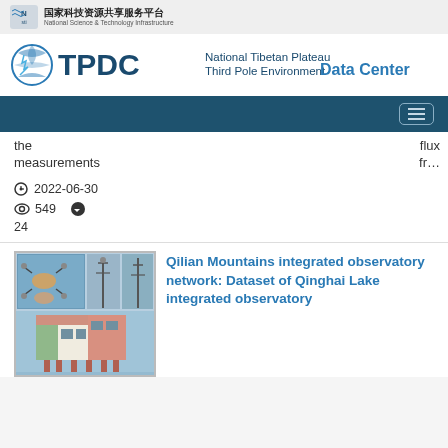国家科技资源共享服务平台 | National Science & Technology Infrastructure
[Figure (logo): TPDC National Tibetan Plateau Third Pole Environment Data Center logo with globe icon]
the flux measurements fr…
2022-06-30   549   24
[Figure (photo): Photo of Qinghai Lake integrated observatory station on water with meteorological equipment]
Qilian Mountains integrated observatory network: Dataset of Qinghai Lake integrated observatory